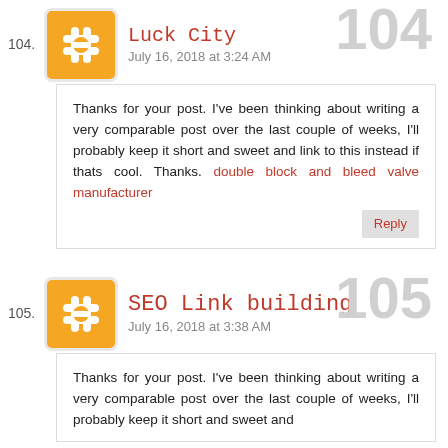104. Luck City — July 16, 2018 at 3:24 AM
Thanks for your post. I've been thinking about writing a very comparable post over the last couple of weeks, I'll probably keep it short and sweet and link to this instead if thats cool. Thanks. double block and bleed valve manufacturer
105. SEO Link building — July 16, 2018 at 3:38 AM
Thanks for your post. I've been thinking about writing a very comparable post over the last couple of weeks, I'll probably keep it short and sweet and